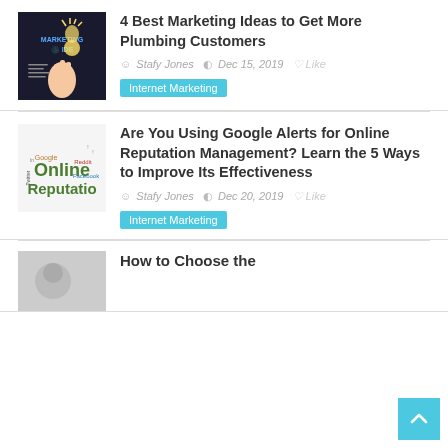[Figure (photo): Marketing Ideas thumbnail — dark chalkboard with 'MARKETING IDEAS' text and hand with lightbulb]
4 Best Marketing Ideas to Get More Plumbing Customers
Stafy Jones  Dec 15, 2019  Like
Internet Marketing
[Figure (photo): Online Reputation word cloud image showing words: Online, Reputatio, Google, Reddit, Facebook, Twitter]
Are You Using Google Alerts for Online Reputation Management? Learn the 5 Ways to Improve Its Effectiveness
Stafy Jones  Dec 20, 2019  Like
Internet Marketing
[Figure (photo): Partial thumbnail for third article]
How to Choose the